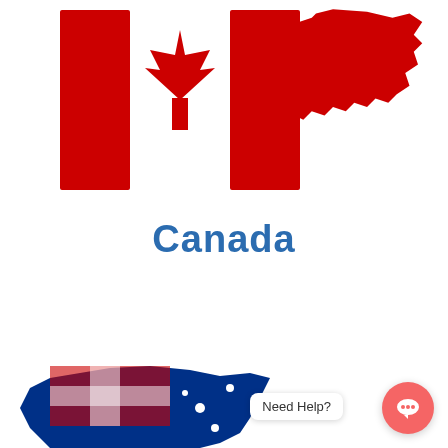[Figure (illustration): Canadian flag (red and white with maple leaf) and red silhouette map of Canada side by side at the top of the page]
Canada
[Figure (illustration): Partial view of Australian flag (blue, red, white with stars and Union Jack) as a map silhouette in the lower portion of the page, with a 'Need Help?' chat bubble tooltip and a coral/pink circular chat icon button]